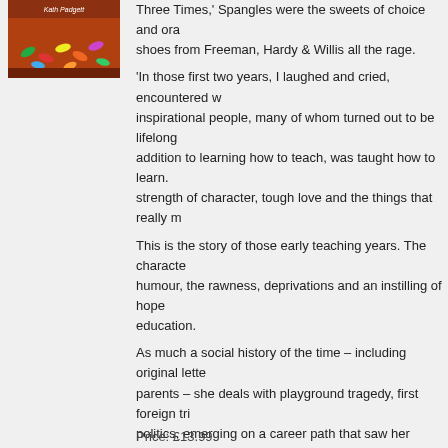[Figure (photo): Book cover image showing 'Kath Padgett' author name with colourful sweets/candy on a dark background]
Three Times,' Spangles were the sweets of choice and orange shoes from Freeman, Hardy & Willis all the rage.
'In those first two years, I laughed and cried, encountered w inspirational people, many of whom turned out to be lifelong addition to learning how to teach, was taught how to learn. strength of character, tough love and the things that really m
This is the story of those early teaching years. The characte humour, the rawness, deprivations and an instilling of hope education.
As much a social history of the time – including original lette parents – she deals with playground tragedy, first foreign tri politics, emerging on a career path that saw her ultimately s teacher.
These recollections of inner-city secondary school life in ea are as poignant and entertaining as they are nostalgic.
"My story is in no way all sweetness and light, cute and slus and heartbreaking, yet at the same time rewarding, challeng and vital…"
Price: £13.99